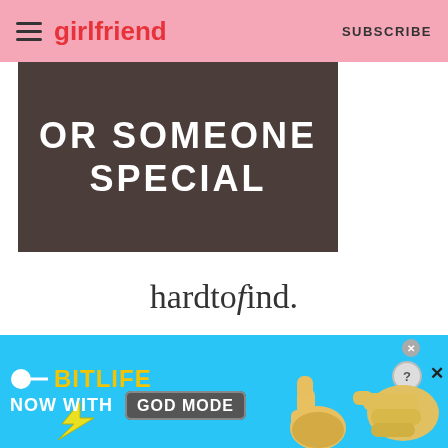girlfriend  SUBSCRIBE
[Figure (illustration): Dark brown/charcoal banner with white bold uppercase text reading 'OR SOMEONE SPECIAL']
[Figure (logo): hardtofind. brand logo in serif italic font]
[Figure (other): Gray placeholder advertisement box]
[Figure (screenshot): BitLife mobile game advertisement banner with blue background showing 'NOW WITH GOD MODE' text and hand illustrations]